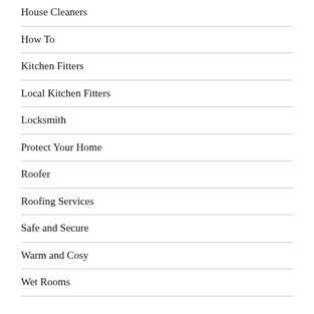House Cleaners
How To
Kitchen Fitters
Local Kitchen Fitters
Locksmith
Protect Your Home
Roofer
Roofing Services
Safe and Secure
Warm and Cosy
Wet Rooms